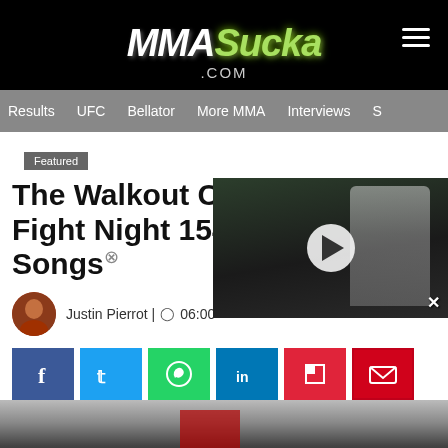[Figure (logo): MMASucka.com logo in white and green italic on black background with hamburger menu icon]
Results  UFC  Bellator  More MMA  Interviews  S
Featured
The Walkout Consultant: UFC Fight Night 154 Walkout Songs
Justin Pierrot | 06:00
[Figure (screenshot): Video thumbnail showing a UFC fighter with arm raised in octagon, with play button overlay]
[Figure (infographic): Social share buttons: Facebook, Twitter, WhatsApp, LinkedIn, Flipboard, Email]
[Figure (photo): Bottom partial image showing fighter face close-up in black and white with red accent and FEATHERWEIGHT text]